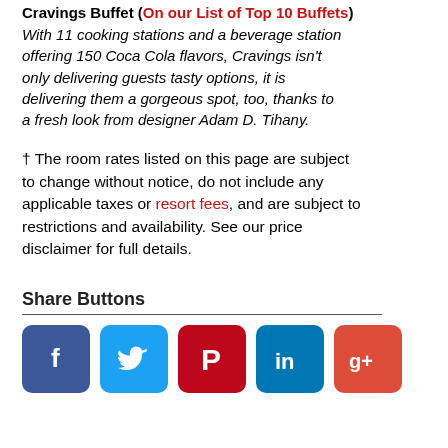Cravings Buffet (On our List of Top 10 Buffets)
With 11 cooking stations and a beverage station offering 150 Coca Cola flavors, Cravings isn't only delivering guests tasty options, it is delivering them a gorgeous spot, too, thanks to a fresh look from designer Adam D. Tihany.
† The room rates listed on this page are subject to change without notice, do not include any applicable taxes or resort fees, and are subject to restrictions and availability. See our price disclaimer for full details.
Share Buttons
[Figure (infographic): Row of social media share buttons: Facebook (blue), Twitter (light blue), Pinterest (red), LinkedIn (dark blue), Google+ (red-orange)]